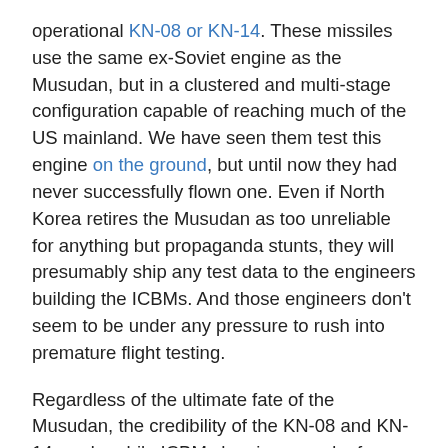operational KN-08 or KN-14. These missiles use the same ex-Soviet engine as the Musudan, but in a clustered and multi-stage configuration capable of reaching much of the US mainland. We have seen them test this engine on the ground, but until now they had never successfully flown one. Even if North Korea retires the Musudan as too unreliable for anything but propaganda stunts, they will presumably ship any test data to the engineers building the ICBMs. And those engineers don't seem to be under any pressure to rush into premature flight testing.
Regardless of the ultimate fate of the Musudan, the credibility of the KN-08 and KN-14 road-mobile ICBMs has increased a few notches. The North Koreans have the engines they need, and they can at least sometimes make them work in flight. There is still a great deal of work for them to do. The clustered twin-engine